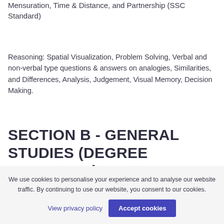Mensuration, Time & Distance, and Partnership (SSC Standard)
Reasoning: Spatial Visualization, Problem Solving, Verbal and non-verbal type questions & answers on analogies, Similarities, and Differences, Analysis, Judgement, Visual Memory, Decision Making.
SECTION B - GENERAL STUDIES (DEGREE STANDARD)
Science and Technology...
We use cookies to personalise your experience and to analyse our website traffic. By continuing to use our website, you consent to our cookies.